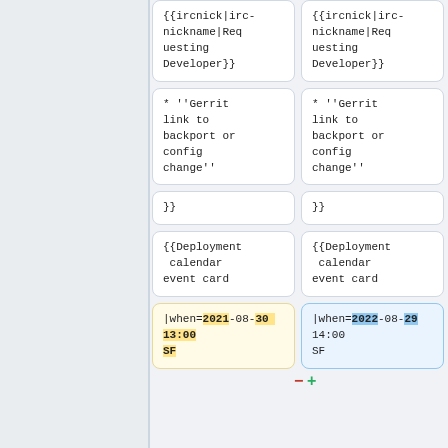{{ircnick|irc-nickname|Requesting Developer}}
{{ircnick|irc-nickname|Requesting Developer}}
* ''Gerrit link to backport or config change''
* ''Gerrit link to backport or config change''
}}
}}
{{Deployment calendar event card
{{Deployment calendar event card
|when=2021-08-30 13:00 SF
|when=2022-08-29 14:00 SF